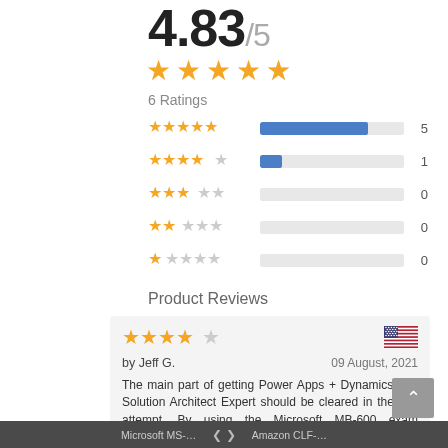4.83/5
[Figure (other): Five orange stars rating display (large), approximately 4.83 stars filled]
6 Ratings
[Figure (bar-chart): Rating breakdown]
Product Reviews
by Jeff G.
09 August, 2021
The main part of getting Power Apps + Dynamics 365 Solution Architect Expert should be cleared in the first attempt. By using the Microsoft MB-600 exam questions and answers given by this CertHouse this task has been made very easy.